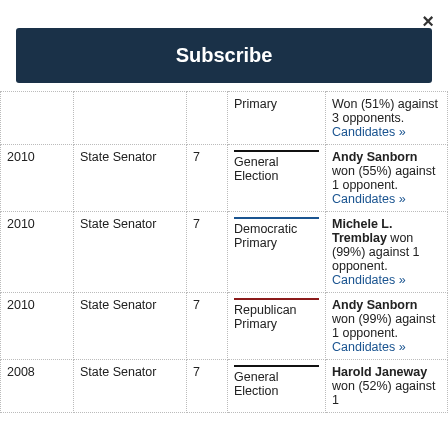×
Subscribe
| Year | Office | District | Election Type | Result |
| --- | --- | --- | --- | --- |
|  |  |  | Primary | Won (51%) against 3 opponents. Candidates » |
| 2010 | State Senator | 7 | General Election | Andy Sanborn won (55%) against 1 opponent. Candidates » |
| 2010 | State Senator | 7 | Democratic Primary | Michele L. Tremblay won (99%) against 1 opponent. Candidates » |
| 2010 | State Senator | 7 | Republican Primary | Andy Sanborn won (99%) against 1 opponent. Candidates » |
| 2008 | State Senator | 7 | General Election | Harold Janeway won (52%) against 1 |